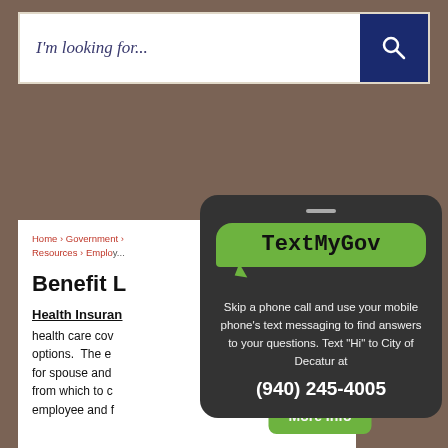[Figure (screenshot): Search bar with italic placeholder text 'I'm looking for...' and a dark navy search button with magnifying glass icon]
Home › Government › Resources › Employee Resources › Employ...
Benefit L...
Health Insuran...
health care cov... options.  The en... for spouse and ... from which to ch... employee and f...
[Figure (screenshot): TextMyGov mobile popup overlay. Green speech bubble with 'TextMyGov' logo. Text: Skip a phone call and use your mobile phone's text messaging to find answers to your questions. Text "Hi" to City of Decatur at (940) 245-4005. Green 'More Info' button at bottom.]